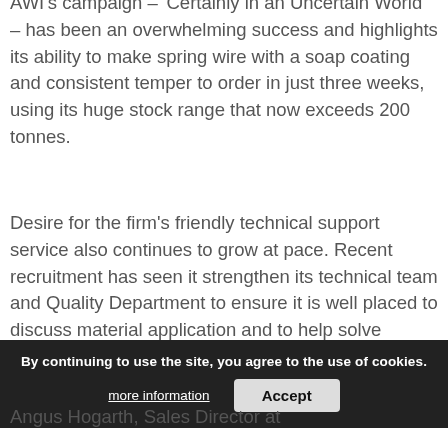AWI's campaign – 'Certainly in an Uncertain World' – has been an overwhelming success and highlights its ability to make spring wire with a soap coating and consistent temper to order in just three weeks, using its huge stock range that now exceeds 200 tonnes.
Desire for the firm's friendly technical support service also continues to grow at pace. Recent recruitment has seen it strengthen its technical team and Quality Department to ensure it is well placed to discuss material application and to help solve potential manufacturing situations around the need for wire to work in corrosive environments and at high tem...
By continuing to use the site, you agree to the use of cookies.
Angus Hogarth, Sales Director at